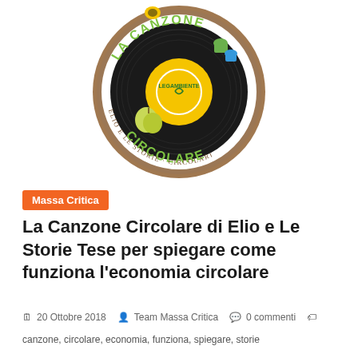[Figure (logo): Circular vinyl record logo for 'La Canzone Circolare' by Elio e Le Storie Circolari, featuring Legambiente branding with green text, brown circular border, apple and coffee capsule illustrations]
Massa Critica
La Canzone Circolare di Elio e Le Storie Tese per spiegare come funziona l'economia circolare
20 Ottobre 2018 · Team Massa Critica · 0 commenti
canzone, circolare, economia, funziona, spiegare, storie